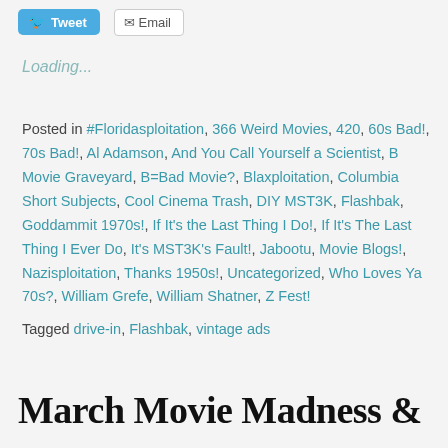Tweet  Email
Loading...
Posted in #Floridasploitation, 366 Weird Movies, 420, 60s Bad!, 70s Bad!, Al Adamson, And You Call Yourself a Scientist, B Movie Graveyard, B=Bad Movie?, Blaxploitation, Columbia Short Subjects, Cool Cinema Trash, DIY MST3K, Flashbak, Goddammit 1970s!, If It's the Last Thing I Do!, If It's The Last Thing I Ever Do, It's MST3K's Fault!, Jabootu, Movie Blogs!, Nazisploitation, Thanks 1950s!, Uncategorized, Who Loves Ya 70s?, William Grefe, William Shatner, Z Fest!
Tagged drive-in, Flashbak, vintage ads
March Movie Madness &